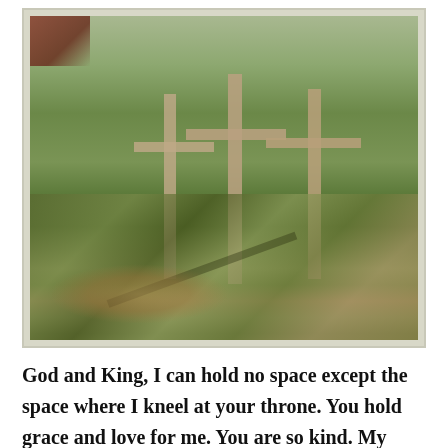[Figure (photo): Outdoor photograph of three wooden crosses standing on a grassy hillside in a wooded forest area, with tall pine trees in the background and dappled sunlight casting shadows across the ground. A structure is partially visible in the top-left corner. Autumn leaves and ferns are visible on the forest floor.]
God and King, I can hold no space except the space where I kneel at your throne. You hold grace and love for me. You are so kind. My tears flow, but only with